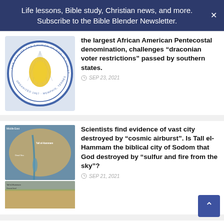Life lessons, Bible study, Christian news, and more. Subscribe to the Bible Blender Newsletter.
the largest African American Pentecostal denomination, challenges “draconian voter restrictions” passed by southern states.
SEP 23, 2021
[Figure (photo): Circular seal of The Church of God in Christ, Inc., organized 1907, Memphis Tennessee, with a yellow/gold wheat sheaf design in the center on a blue bordered circle.]
[Figure (photo): Aerial satellite map image showing the Middle East region with labels including Tall el-Hammam, Dead Sea, and surrounding geography. Below is a ground-level photo of a flat desert archaeological site labeled Tall el-Hammam.]
Scientists find evidence of vast city destroyed by “cosmic airburst”. Is Tall el-Hammam the biblical city of Sodom that God destroyed by “sulfur and fire from the sky”?
SEP 21, 2021
Pro-Trump billboard in Georgia